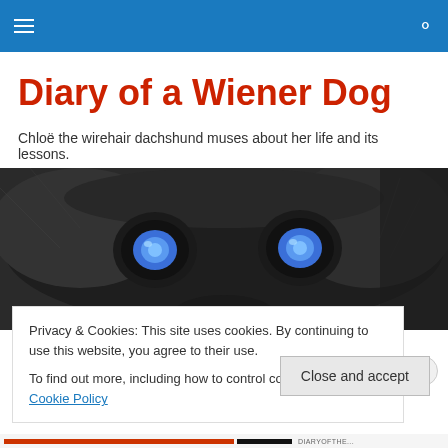Diary of a Wiener Dog – navigation bar
Diary of a Wiener Dog
Chloë the wirehair dachshund muses about her life and its lessons.
[Figure (photo): Close-up photo of a wirehair dachshund dog's face with glowing blue eyes peering at the camera, dark fur filling the frame.]
TAGGED WITH DR. JAMES ANDREWS
Privacy & Cookies: This site uses cookies. By continuing to use this website, you agree to their use.
To find out more, including how to control cookies, see here: Cookie Policy
Close and accept